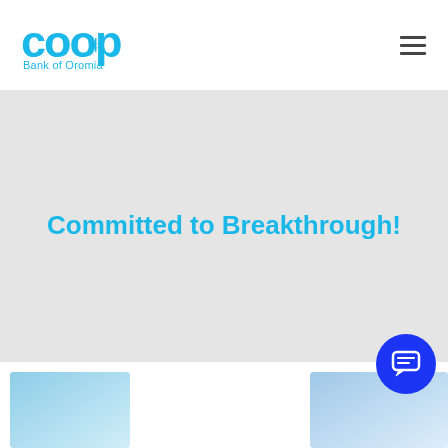[Figure (logo): COOP Bank of Oromia logo in cyan/light blue color]
Committed to Breakthrough!
[Figure (illustration): Chat/message bubble icon in white on blue circle button, bottom right corner]
[Figure (illustration): Footer strip with light blue gradient image sections]